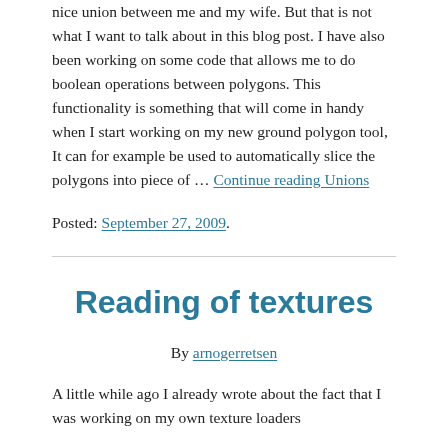nice union between me and my wife. But that is not what I want to talk about in this blog post. I have also been working on some code that allows me to do boolean operations between polygons. This functionality is something that will come in handy when I start working on my new ground polygon tool, It can for example be used to automatically slice the polygons into piece of … Continue reading Unions
Posted: September 27, 2009.
Reading of textures
By arnogerretsen
A little while ago I already wrote about the fact that I was working on my own texture loaders